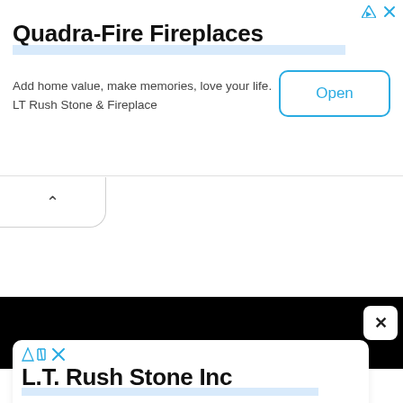[Figure (screenshot): Top advertisement banner for Quadra-Fire Fireplaces by LT Rush Stone & Fireplace, with an Open button and ad icons]
[Figure (screenshot): Collapse/chevron button below the top ad banner]
[Figure (screenshot): Black video/content area with a white close X button]
[Figure (screenshot): Bottom advertisement for L.T. Rush Stone Inc by LT Rush Stone & Fireplace, with an Open button]